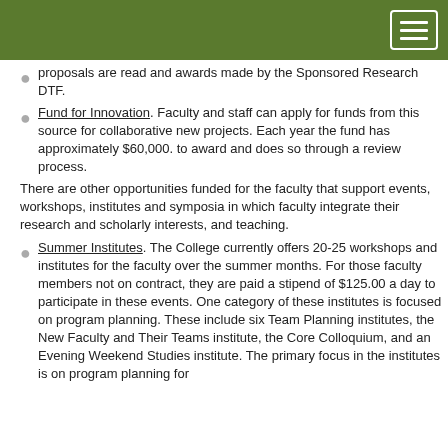proposals are read and awards made by the Sponsored Research DTF.
Fund for Innovation. Faculty and staff can apply for funds from this source for collaborative new projects. Each year the fund has approximately $60,000. to award and does so through a review process.
There are other opportunities funded for the faculty that support events, workshops, institutes and symposia in which faculty integrate their research and scholarly interests, and teaching.
Summer Institutes. The College currently offers 20-25 workshops and institutes for the faculty over the summer months. For those faculty members not on contract, they are paid a stipend of $125.00 a day to participate in these events. One category of these institutes is focused on program planning. These include six Team Planning institutes, the New Faculty and Their Teams institute, the Core Colloquium, and an Evening Weekend Studies institute. The primary focus in the institutes is on program planning for...